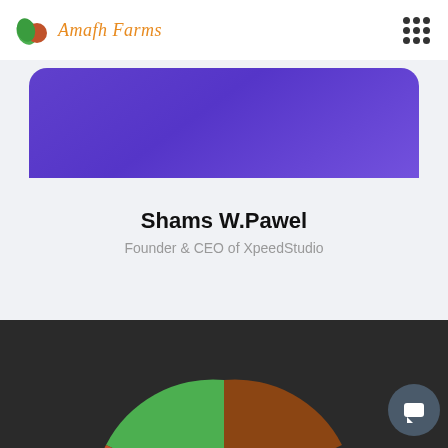Amafh Farms
[Figure (illustration): Purple rounded rectangle card partially visible at top of content area]
Shams W.Pawel
Founder & CEO of XpeedStudio
[Figure (illustration): Dark section at bottom with partial pie/donut chart in green, orange, and brown colors, and a chat button icon on the right]